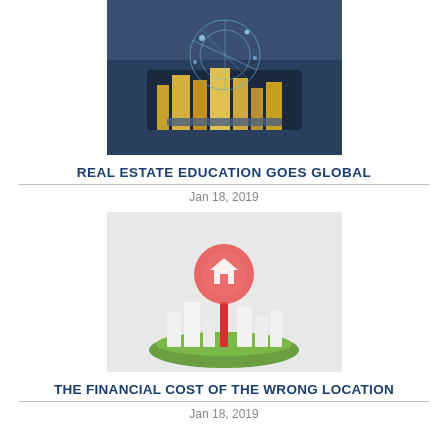[Figure (photo): Person holding a tablet displaying a glowing smart city with network connections and city skyline at night]
REAL ESTATE EDUCATION GOES GLOBAL
Jan 18, 2019
[Figure (photo): 3D illustration of a red map location pin with a house icon hovering over white building models on a green circular island]
THE FINANCIAL COST OF THE WRONG LOCATION
Jan 18, 2019